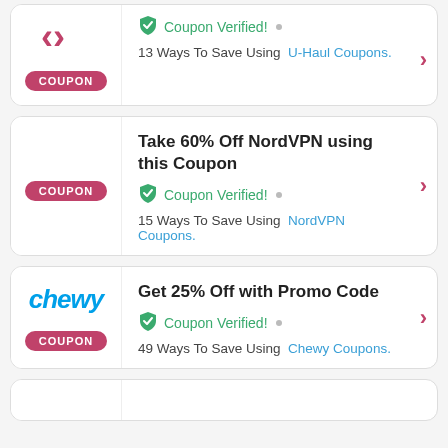[Figure (screenshot): Partial coupon card at top: COUPON badge on left, right side shows green checkmark Coupon Verified! dot, '13 Ways To Save Using U-Haul Coupons.' with blue link, and pink arrow]
Take 60% Off NordVPN using this Coupon
Coupon Verified! • 15 Ways To Save Using NordVPN Coupons.
Get 25% Off with Promo Code
Coupon Verified! • 49 Ways To Save Using Chewy Coupons.